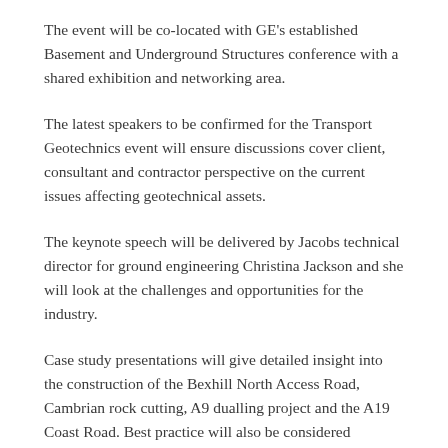The event will be co-located with GE's established Basement and Underground Structures conference with a shared exhibition and networking area.
The latest speakers to be confirmed for the Transport Geotechnics event will ensure discussions cover client, consultant and contractor perspective on the current issues affecting geotechnical assets.
The keynote speech will be delivered by Jacobs technical director for ground engineering Christina Jackson and she will look at the challenges and opportunities for the industry.
Case study presentations will give detailed insight into the construction of the Bexhill North Access Road, Cambrian rock cutting, A9 dualling project and the A19 Coast Road. Best practice will also be considered